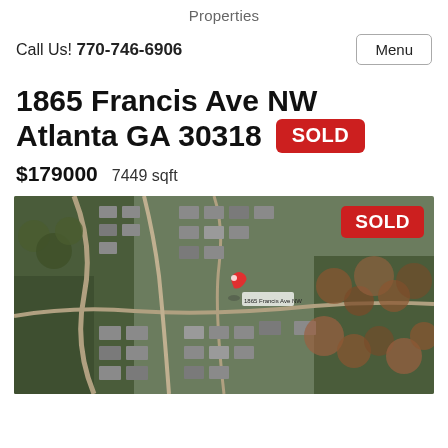Properties
Call Us! 770-746-6906
Menu
1865 Francis Ave NW Atlanta GA 30318 SOLD
$179000   7449 sqft
[Figure (photo): Aerial satellite view of 1865 Francis Ave NW, Atlanta GA 30318, showing a residential neighborhood with tree cover and streets. A red map pin marks the property location. A red SOLD badge appears in the upper right corner of the image.]